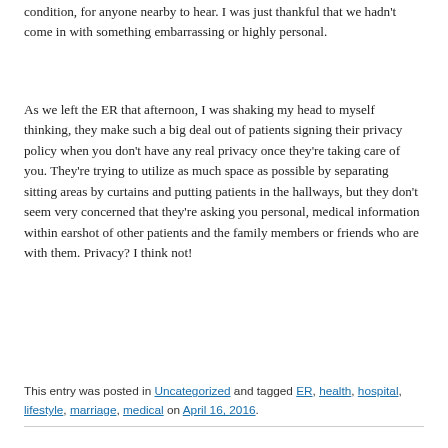condition, for anyone nearby to hear. I was just thankful that we hadn't come in with something embarrassing or highly personal.
As we left the ER that afternoon, I was shaking my head to myself thinking, they make such a big deal out of patients signing their privacy policy when you don't have any real privacy once they're taking care of you. They're trying to utilize as much space as possible by separating sitting areas by curtains and putting patients in the hallways, but they don't seem very concerned that they're asking you personal, medical information within earshot of other patients and the family members or friends who are with them. Privacy? I think not!
This entry was posted in Uncategorized and tagged ER, health, hospital, lifestyle, marriage, medical on April 16, 2016.